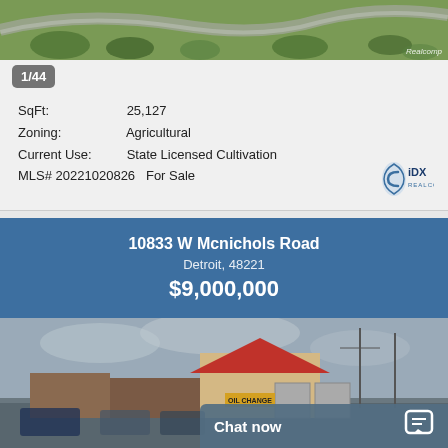[Figure (photo): Aerial view of property with green vegetation and curved road]
1/44
SqFt: 25,127
Zoning: Agricultural
Current Use: State Licensed Cultivation
MLS# 20221020826  For Sale
[Figure (logo): Realcomp IDX logo]
10833 W Mcnichols Road
Detroit, 48221
$9,000,000
[Figure (photo): Street-level photo of commercial property with red roof building and oil change sign]
Chat now